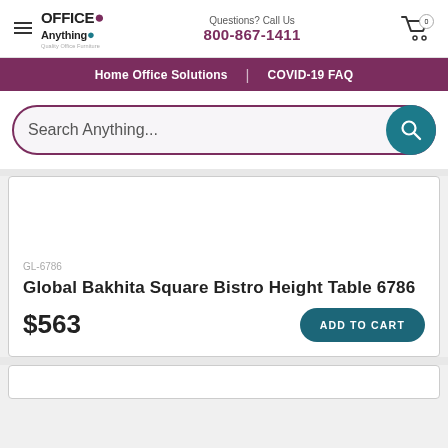OFFICE Anything | Questions? Call Us 800-867-1411
Home Office Solutions | COVID-19 FAQ
Search Anything...
GL-6786
Global Bakhita Square Bistro Height Table 6786
$563
ADD TO CART